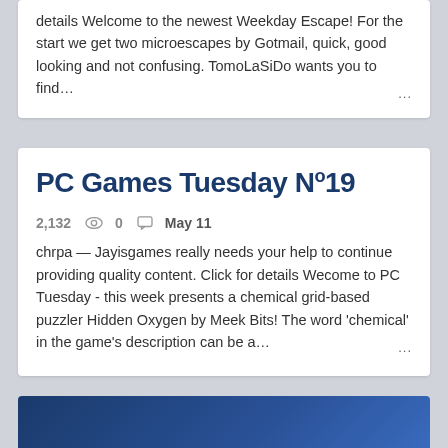details Welcome to the newest Weekday Escape! For the start we get two microescapes by Gotmail, quick, good looking and not confusing. TomoLaSiDo wants you to find…
PC Games Tuesday Nº19
2,132   0   May 11
chrpa — Jayisgames really needs your help to continue providing quality content. Click for details Wecome to PC Tuesday - this week presents a chemical grid-based puzzler Hidden Oxygen by Meek Bits! The word 'chemical' in the game's description can be a…
[Figure (other): Dark blue banner/image at bottom of page, partially visible]